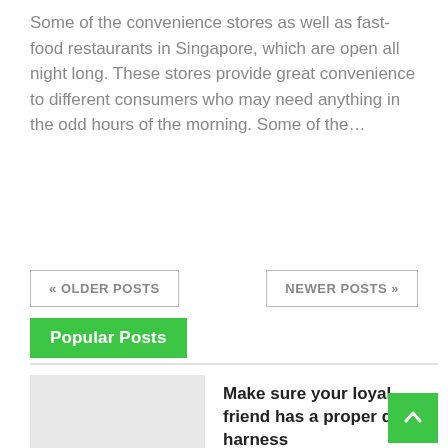Some of the convenience stores as well as fast-food restaurants in Singapore, which are open all night long. These stores provide great convenience to different consumers who may need anything in the odd hours of the morning. Some of the…
« OLDER POSTS
NEWER POSTS »
Popular Posts
Make sure your loyal friend has a proper dog harness
3 Things To Look For When Buying A Keypad Door Handle
Tips to Find the Value of Postcards